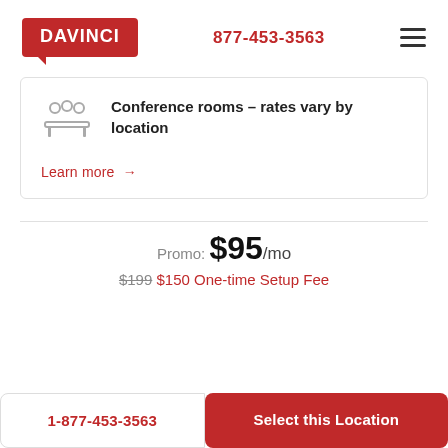DAVINCI  877-453-3563
Conference rooms – rates vary by location
Learn more →
Promo: $95/mo
$199 $150 One-time Setup Fee
1-877-453-3563
Select this Location